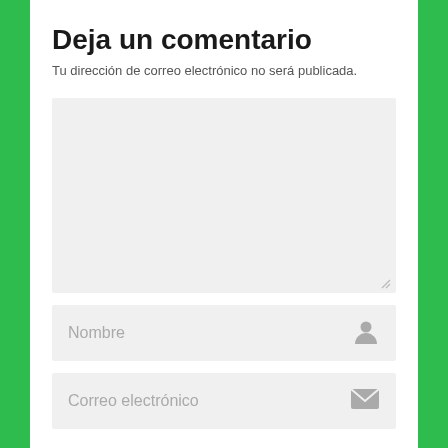Deja un comentario
Tu dirección de correo electrónico no será publicada.
[Figure (screenshot): Empty comment text area input field with light gray background and resize handle in bottom-right corner]
[Figure (screenshot): Name input field with gray background, placeholder text 'Nombre' and a person icon on the right]
[Figure (screenshot): Email input field with gray background, placeholder text 'Correo electrónico' and an envelope icon on the right]